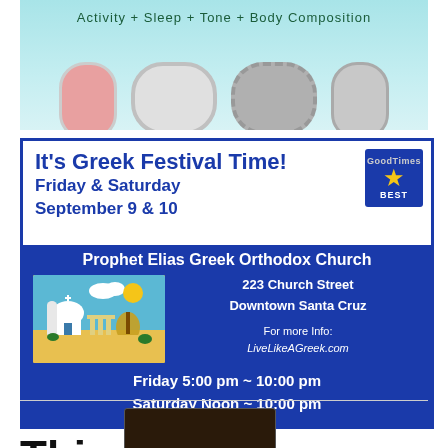[Figure (photo): Top advertisement showing fitness bands/trackers on a teal background with text 'Activity + Sleep + Tone + Body Composition']
[Figure (infographic): Greek Festival advertisement for Prophet Elias Greek Orthodox Church, Friday & Saturday September 9 & 10, 223 Church Street Downtown Santa Cruz, LiveLikeAGreek.com, Friday 5:00pm-10:00pm, Saturday Noon-10:00pm]
This
[Figure (photo): Good Times newspaper/magazine cover thumbnail]